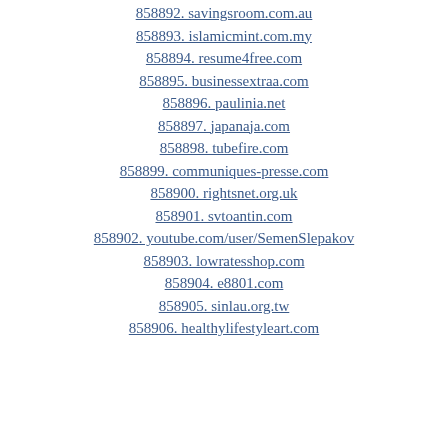858892. savingsroom.com.au
858893. islamicmint.com.my
858894. resume4free.com
858895. businessextraa.com
858896. paulinia.net
858897. japanaja.com
858898. tubefire.com
858899. communiques-presse.com
858900. rightsnet.org.uk
858901. svtoantin.com
858902. youtube.com/user/SemenSlepakov
858903. lowratesshop.com
858904. e8801.com
858905. sinlau.org.tw
858906. healthylifestyleart.com